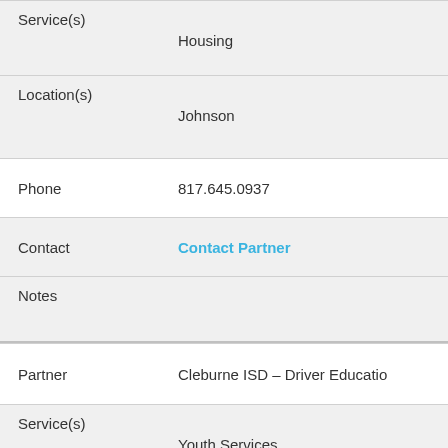| Field | Value |
| --- | --- |
| Service(s) | Housing |
| Location(s) | Johnson |
| Phone | 817.645.0937 |
| Contact | Contact Partner |
| Notes |  |
| Partner | Cleburne ISD – Driver Educatio… |
| Service(s) | Youth Services |
| Location(s) |  |